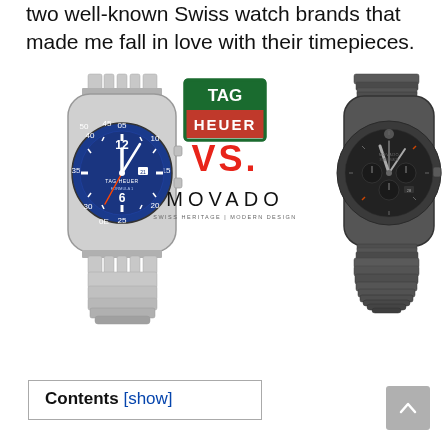two well-known Swiss watch brands that made me fall in love with their timepieces.
[Figure (illustration): Comparison image showing a TAG Heuer Formula 1 watch on the left (silver case, blue dial with sport bezel) and a Movado Museum Sport chronograph on the right (gunmetal/dark case with black dial), with TAG Heuer logo and VS. text and Movado logo in the center.]
Contents [show]